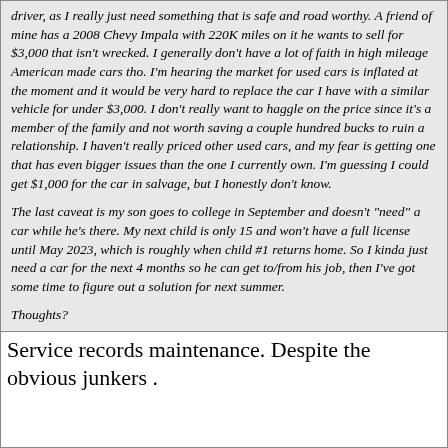driver, as I really just need something that is safe and road worthy. A friend of mine has a 2008 Chevy Impala with 220K miles on it he wants to sell for $3,000 that isn't wrecked. I generally don't have a lot of faith in high mileage American made cars tho. I'm hearing the market for used cars is inflated at the moment and it would be very hard to replace the car I have with a similar vehicle for under $3,000. I don't really want to haggle on the price since it's a member of the family and not worth saving a couple hundred bucks to ruin a relationship. I haven't really priced other used cars, and my fear is getting one that has even bigger issues than the one I currently own. I'm guessing I could get $1,000 for the car in salvage, but I honestly don't know.
The last caveat is my son goes to college in September and doesn't "need" a car while he's there. My next child is only 15 and won't have a full license until May 2023, which is roughly when child #1 returns home. So I kinda just need a car for the next 4 months so he can get to/from his job, then I've got some time to figure out a solution for next summer.
Thoughts?
Service records maintenance. Despite the obvious junkers .